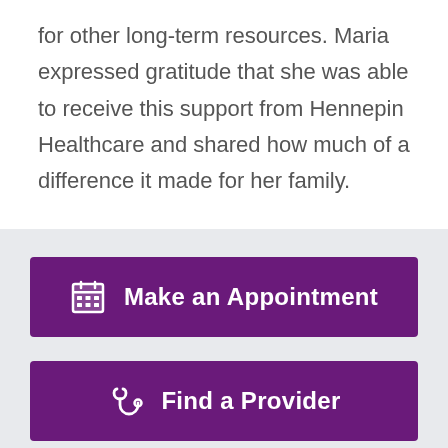for other long-term resources. Maria expressed gratitude that she was able to receive this support from Hennepin Healthcare and shared how much of a difference it made for her family.
[Figure (other): Purple button with calendar icon labeled 'Make an Appointment']
[Figure (other): Purple button with stethoscope icon labeled 'Find a Provider']
[Figure (other): Purple button partially visible at bottom of page]